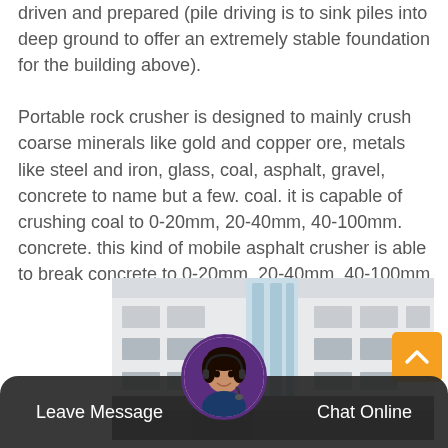driven and prepared (pile driving is to sink piles into deep ground to offer an extremely stable foundation for the building above). Portable rock crusher is designed to mainly crush coarse minerals like gold and copper ore, metals like steel and iron, glass, coal, asphalt, gravel, concrete to name but a few. coal. it is capable of crushing coal to 0-20mm, 20-40mm, 40-100mm. concrete. this kind of mobile asphalt crusher is able to break concrete to 0-20mm, 20-40mm, 40-100mm.
[Figure (photo): Exterior photo of an industrial building with white facade, multiple windows, and a cylindrical glass tower structure in the center.]
Leave Message   Chat Online